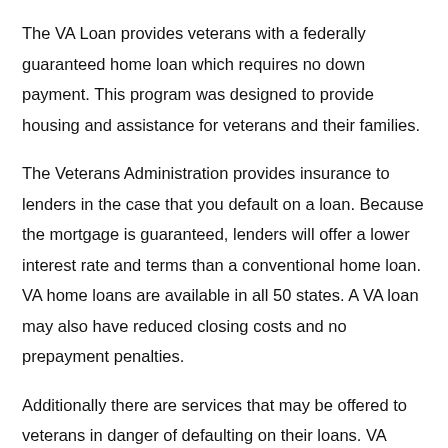The VA Loan provides veterans with a federally guaranteed home loan which requires no down payment. This program was designed to provide housing and assistance for veterans and their families.
The Veterans Administration provides insurance to lenders in the case that you default on a loan. Because the mortgage is guaranteed, lenders will offer a lower interest rate and terms than a conventional home loan. VA home loans are available in all 50 states. A VA loan may also have reduced closing costs and no prepayment penalties.
Additionally there are services that may be offered to veterans in danger of defaulting on their loans. VA home loans are available to military personal that have either served 181 days during peacetime or 90 days during...